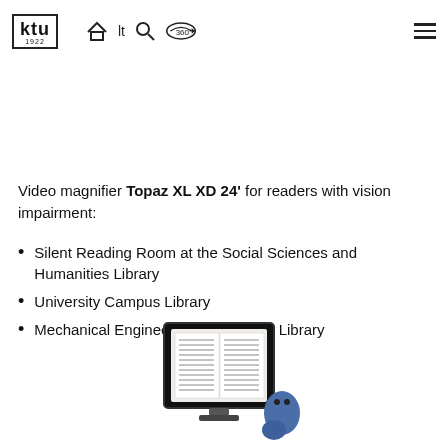KTU 1922 [logo] [nav icons: home, lt, search, 360] [hamburger menu]
Video magnifier Topaz XL XD 24' for readers with vision impairment:
Silent Reading Room at the Social Sciences and Humanities Library
University Campus Library
Mechanical Engineering and Design Library
[Figure (photo): Photo of Topaz XL XD 24' video magnifier device showing a book displayed on a large screen, held by a blue cartoon character or robot arm]